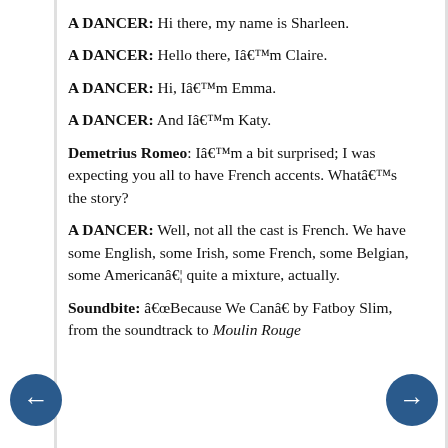A DANCER: Hi there, my name is Sharleen.
A DANCER: Hello there, Iâm Claire.
A DANCER: Hi, Iâm Emma.
A DANCER: And Iâm Katy.
Demetrius Romeo: Iâm a bit surprised; I was expecting you all to have French accents. Whatâs the story?
A DANCER: Well, not all the cast is French. We have some English, some Irish, some French, some Belgian, some Americanâ¦ quite a mixture, actually.
Soundbite: âBecause We Canâ by Fatboy Slim, from the soundtrack to Moulin Rouge